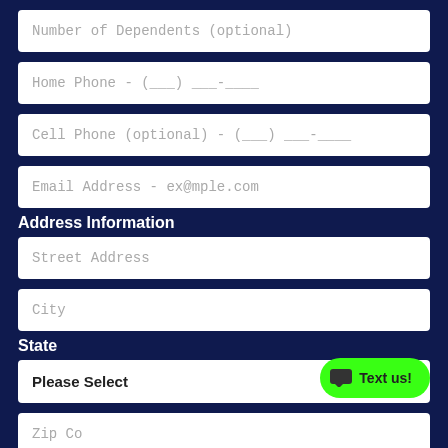Number of Dependents (optional)
Home Phone - (___) ___-____
Cell Phone (optional) - (___) ___-____
Email Address - ex@mple.com
Address Information
Street Address
City
State
Please Select
Text us!
Zip Code